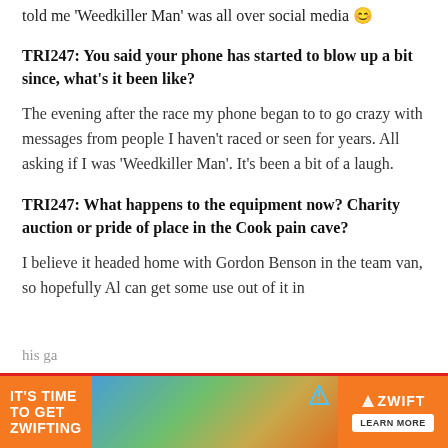told me 'Weedkiller Man' was all over social media 😊
TRI247: You said your phone has started to blow up a bit since, what's it been like?
The evening after the race my phone began to to go crazy with messages from people I haven't raced or seen for years. All asking if I was 'Weedkiller Man'. It's been a bit of a laugh.
TRI247: What happens to the equipment now? Charity auction or pride of place in the Cook pain cave?
I believe it headed home with Gordon Benson in the team van, so hopefully Al can get some use out of it in his ga...
[Figure (infographic): Orange Zwift advertisement banner reading IT'S TIME TO GET ZWIFTING with a cycling image in the middle and the Zwift logo with LEARN MORE button on the right]